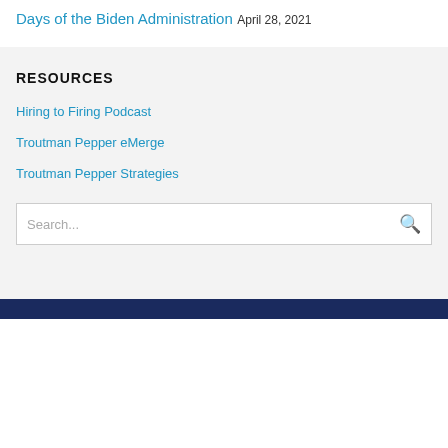Days of the Biden Administration
April 28, 2021
RESOURCES
Hiring to Firing Podcast
Troutman Pepper eMerge
Troutman Pepper Strategies
Search...